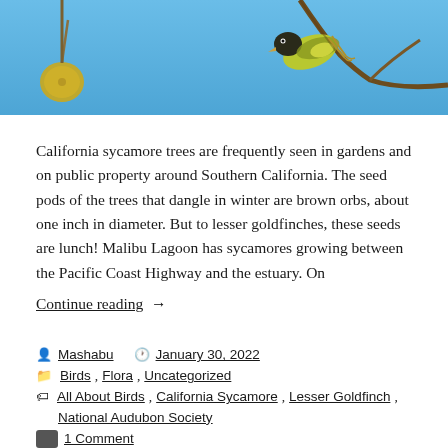[Figure (photo): A bird (lesser goldfinch) hanging upside down on a branch against a blue sky background, with a round brown seed pod visible on the left. The photo is cropped showing only the top portion with the bird and sky.]
California sycamore trees are frequently seen in gardens and on public property around Southern California. The seed pods of the trees that dangle in winter are brown orbs, about one inch in diameter. But to lesser goldfinches, these seeds are lunch! Malibu Lagoon has sycamores growing between the Pacific Coast Highway and the estuary. On
Continue reading  →
Mashabu   January 30, 2022
Birds, Flora, Uncategorized
All About Birds, California Sycamore, Lesser Goldfinch, National Audubon Society
1 Comment